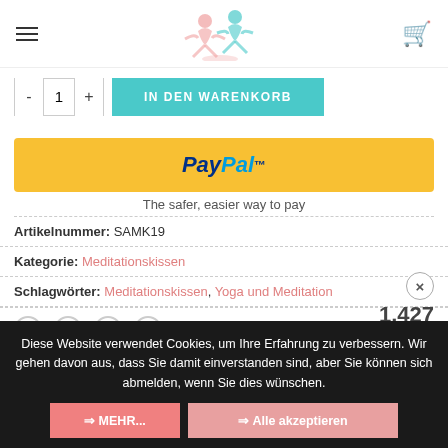Navigation header with hamburger menu, yoga/meditation logo, and cart icon
[Figure (screenshot): Add to cart row with quantity selector showing - 1 + and teal button labeled IN DEN WARENKORB]
[Figure (logo): PayPal payment button (yellow background with PayPal logo)]
The safer, easier way to pay
Artikelnummer: SAMK19
Kategorie: Meditationskissen
Schlagwörter: Meditationskissen, Yoga und Meditation
[Figure (infographic): Floating popup showing count 1.427 with close X button]
[Figure (infographic): Social share icons: WhatsApp, Facebook, Twitter, Email]
Diese Website verwendet Cookies, um Ihre Erfahrung zu verbessern. Wir gehen davon aus, dass Sie damit einverstanden sind, aber Sie können sich abmelden, wenn Sie dies wünschen.
⇒ MEHR... ⇒ Alle akzeptieren